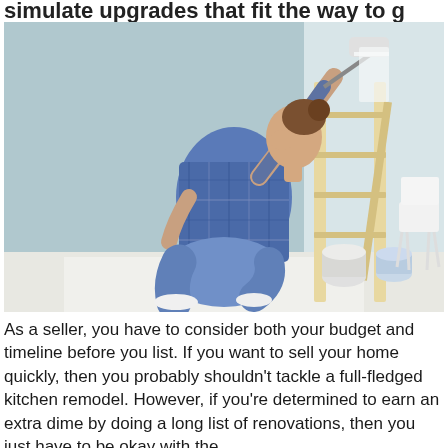simulate upgrades that fit the way to g...
[Figure (photo): A young woman in a blue plaid shirt and jeans crouching down while painting a wall with a paint roller. There is a wooden ladder behind her, paint buckets on the floor, and a modern white chair in the background. The room is being renovated with drop cloth on the floor.]
As a seller, you have to consider both your budget and timeline before you list. If you want to sell your home quickly, then you probably shouldn't tackle a full-fledged kitchen remodel. However, if you're determined to earn an extra dime by doing a long list of renovations, then you just have to be okay with the